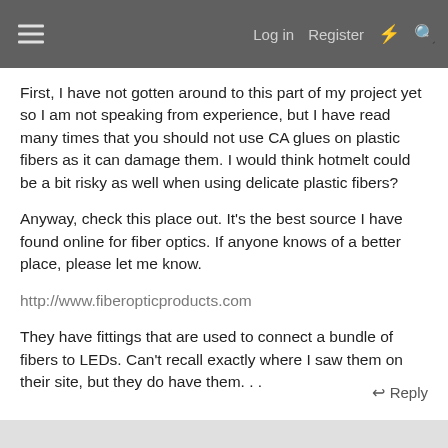Log in  Register
First, I have not gotten around to this part of my project yet so I am not speaking from experience, but I have read many times that you should not use CA glues on plastic fibers as it can damage them. I would think hotmelt could be a bit risky as well when using delicate plastic fibers?
Anyway, check this place out. It's the best source I have found online for fiber optics. If anyone knows of a better place, please let me know.
http://www.fiberopticproducts.com
They have fittings that are used to connect a bundle of fibers to LEDs. Can't recall exactly where I saw them on their site, but they do have them. . .
Reply